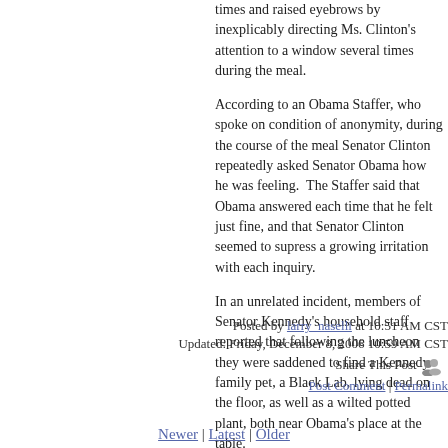times and raised eyebrows by inexplicably directing Ms. Clinton's attention to a window several times during the meal.
According to an Obama Staffer, who spoke on condition of anonymity, during the course of the meal Senator Clinton repeatedly asked Senator Obama how he was feeling.  The Staffer said that Obama answered each time that he felt just fine, and that Senator Clinton seemed to supress a growing irritation with each inquiry.
In an unrelated incident, members of Senator Kennedy's household staff reported that following the luncheon they were saddened to find a Kennedy family pet, a Black Lab, lying dead on the floor, as well as a wilted potted plant, both near Obama's place at the table.
Posted by larry_naselli at 10:51 AM CST
Updated: Friday, December 8, 2006 10:59 AM CST
Share This Post
Post Comment | Permalink
Newer | Latest | Older